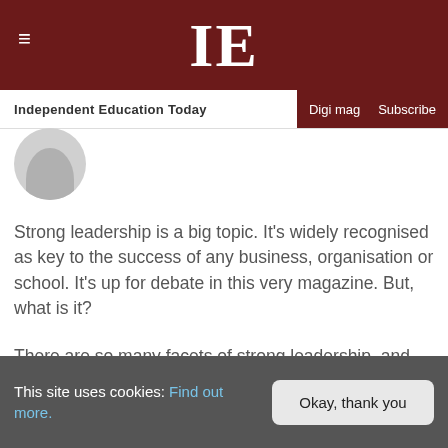IE — Independent Education Today
[Figure (illustration): Gray circular avatar/profile placeholder silhouette]
Strong leadership is a big topic. It's widely recognised as key to the success of any business, organisation or school. It's up for debate in this very magazine. But, what is it?
There are so many facets of strong leadership, and there definitely isn't a 'one-size-fits-all' template for guaranteed success. Wouldn't life be easier if there was?!
This site uses cookies: Find out more. Okay, thank you